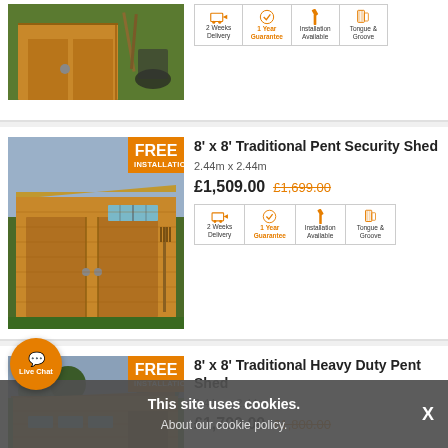[Figure (photo): Partial view of wooden garden shed with wheelbarrow, top of page]
[Figure (infographic): Feature icons bar: 2 Weeks Delivery, 1 Year Guarantee, Installation Available, Tongue & Groove]
8' x 8' Traditional Pent Security Shed
2.44m x 2.44m
£1,509.00  £1,699.00
[Figure (photo): Wooden pent security shed with double doors and FREE INSTALLATION badge]
[Figure (infographic): Feature icons bar: 2 Weeks Delivery, 1 Year Guarantee, Installation Available, Tongue & Groove]
8' x 8' Traditional Heavy Duty Pent Shed
2.44m x 2.44m
£1,700.00  £1,800.00
[Figure (photo): Wooden heavy duty pent shed with FREE INSTALLATION badge, partially visible]
This site uses cookies. About our cookie policy.